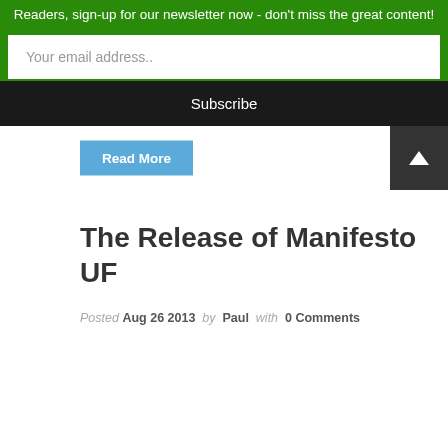Readers, sign-up for our newsletter now - don't miss the great content!
Your email address..
Subscribe
Read More
The Release of Manifesto UF
Posted Aug 26 2013 by Paul with 0 Comments